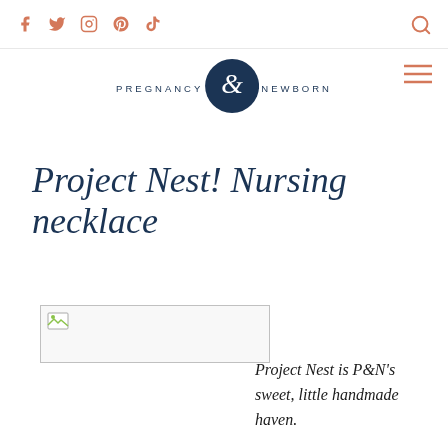Social icons: Facebook, Twitter, Instagram, Pinterest, TikTok | Search icon | Pregnancy & Newborn logo | Hamburger menu
Project Nest! Nursing necklace
[Figure (photo): Broken/missing image placeholder showing a small image icon in the top-left corner within a bordered rectangle]
Project Nest is P&N's sweet, little handmade haven.